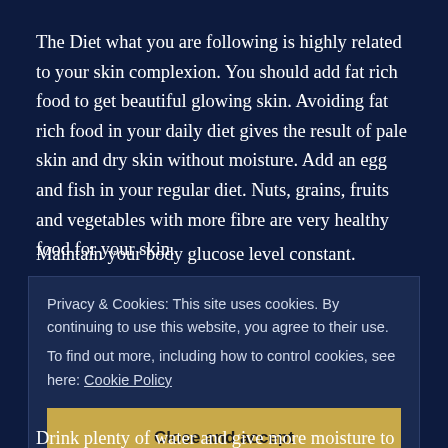The Diet what you are following is highly related to your skin complexion. You should add fat rich food to get beautiful glowing skin. Avoiding fat rich food in your daily diet gives the result of pale skin and dry skin without moisture. Add an egg and fish in your regular diet. Nuts, grains, fruits and vegetables with more fibre are very healthy food for your skin.
Maintain your body glucose level constant. Increased blood sugar reduces your skin shine and glow. Hyperglycemia is also a reason for your face wrinkles. Avoid eating junk and fast food. Always prefer protein rich diet for beautiful skin.
Privacy & Cookies: This site uses cookies. By continuing to use this website, you agree to their use. To find out more, including how to control cookies, see here: Cookie Policy
Close and accept
Drink plenty of water and give more moisture to your skin. The